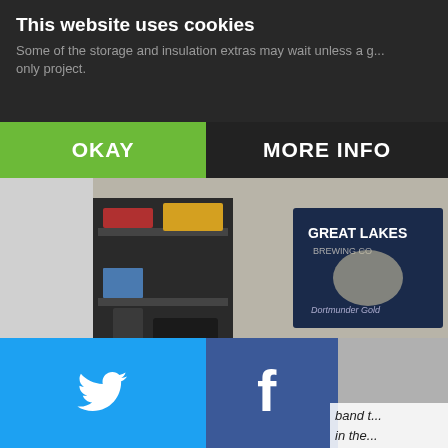This website uses cookies
Some of the storage and insulation extras may wait unless a g... only project.
OKAY
MORE INFO
[Figure (photo): Garage interior with storage shelves, bicycle, cardboard boxes, and a Great Lakes Brewing Co poster on the wall]
[Figure (screenshot): Social sharing buttons grid: Twitter (blue), Facebook (dark blue), Email (grey), WhatsApp (green), SMS (blue), Share/other (blue)]
band t... in the...